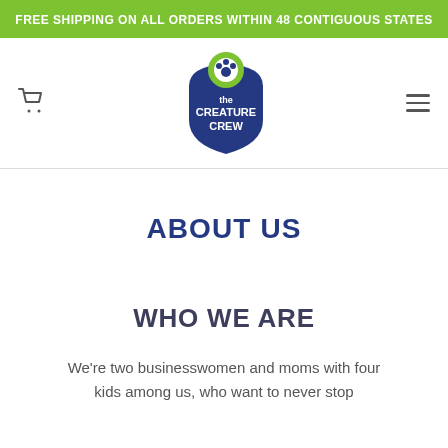FREE SHIPPING ON ALL ORDERS WITHIN 48 CONTIGUOUS STATES
[Figure (logo): The Creature Crew logo — shield shape in navy blue with a green paw print circle on top and white text reading 'the CREATURE CREW']
ABOUT US
WHO WE ARE
We're two businesswomen and moms with four kids among us, who want to never stop